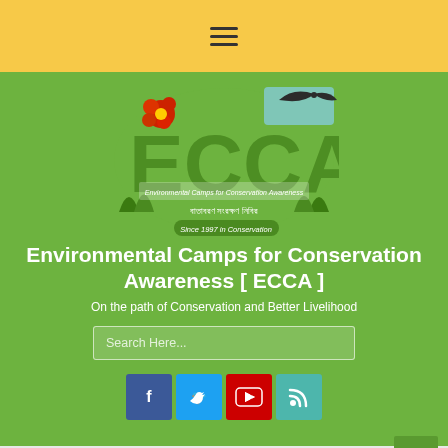≡ (hamburger menu icon)
[Figure (logo): ECCA logo — Environmental Camps for Conservation Awareness, featuring stylized green snake/leaf letters with a bird, red flower, and Bengali text with 'Since 1997 in Conservation' banner]
Environmental Camps for Conservation Awareness [ ECCA ]
On the path of Conservation and Better Livelihood
Search Here...
[Figure (infographic): Social media icons row: Facebook (blue), Twitter (light blue), YouTube (red), RSS (teal)]
ECCA BRIEFS